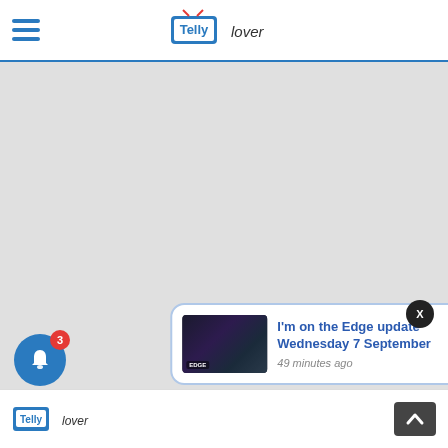TellyLover website header with hamburger menu and logo
[Figure (screenshot): Gray main content area of website, empty/loading state]
[Figure (other): Close (X) button for notification popup, dark circular button]
[Figure (other): Notification popup card: thumbnail image of show, title 'I'm on the Edge update Wednesday 7 September', timestamp '49 minutes ago']
[Figure (other): Blue bell notification button with red badge showing count 3]
TellyLover footer with logo and scroll-to-top button